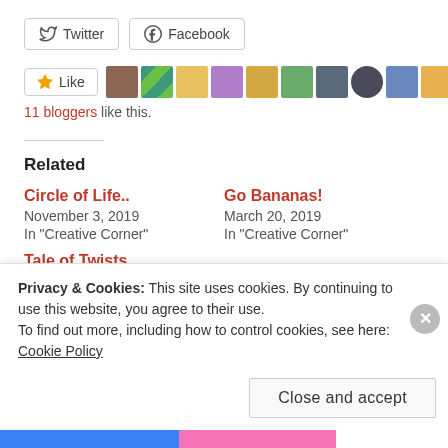Twitter | Facebook (social share buttons)
[Figure (other): Like button with star icon and 10 avatar thumbnails of bloggers]
11 bloggers like this.
Related
Circle of Life..
November 3, 2019
In "Creative Corner"
Go Bananas!
March 20, 2019
In "Creative Corner"
Tale of Twists
August 13, 2020
Privacy & Cookies: This site uses cookies. By continuing to use this website, you agree to their use.
To find out more, including how to control cookies, see here: Cookie Policy
Close and accept